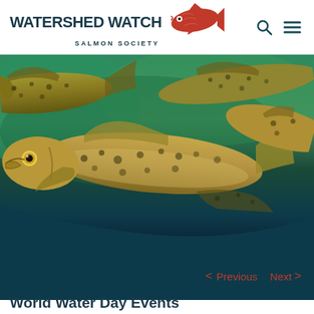[Figure (logo): Watershed Watch Salmon Society logo with red salmon fish illustration and dark teal text]
[Figure (photo): Underwater photograph of multiple salmon fish crowded together, showing spotted bodies, golden eyes, and open mouths, against a green-teal water background transitioning to dark teal]
< Previous  Next >
World Water Day Events